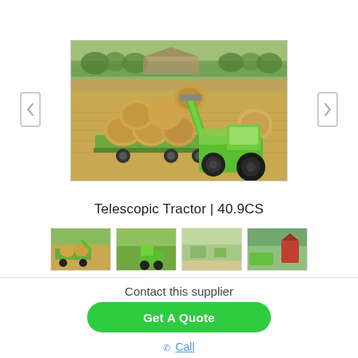[Figure (photo): A green telescopic handler/tractor with an extended arm loading large round hay bales onto a flatbed trailer in a harvested field. Farm buildings and trees are visible in the background.]
Telescopic Tractor | 40.9CS
[Figure (photo): Thumbnail 1: telescopic tractor working in field]
[Figure (photo): Thumbnail 2: green tractor in green field]
[Figure (photo): Thumbnail 3: landscape/field scene]
[Figure (photo): Thumbnail 4: tractor near red barn/shed in greenery]
Contact this supplier
Get A Quote
☎ Call